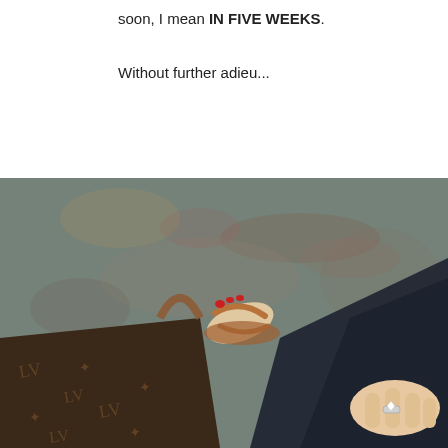soon, I mean IN FIVE WEEKS.
Without further adieu...
[Figure (photo): A photograph taken from above showing a person's foot wearing a tan/brown open-toe sandal with red toenail polish, dark jeans, and a hand with a ring. A Louis Vuitton bag is visible on a patterned carpet floor.]